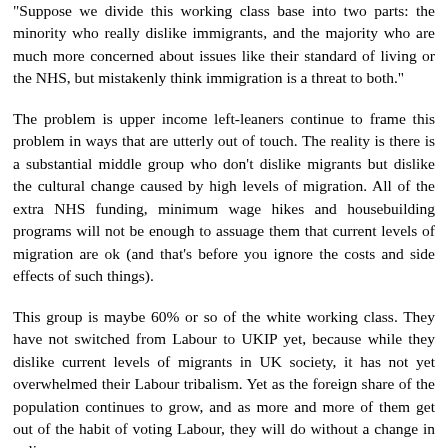"Suppose we divide this working class base into two parts: the minority who really dislike immigrants, and the majority who are much more concerned about issues like their standard of living or the NHS, but mistakenly think immigration is a threat to both."
The problem is upper income left-leaners continue to frame this problem in ways that are utterly out of touch. The reality is there is a substantial middle group who don't dislike migrants but dislike the cultural change caused by high levels of migration. All of the extra NHS funding, minimum wage hikes and housebuilding programs will not be enough to assuage them that current levels of migration are ok (and that's before you ignore the costs and side effects of such things).
This group is maybe 60% or so of the white working class. They have not switched from Labour to UKIP yet, because while they dislike current levels of migrants in UK society, it has not yet overwhelmed their Labour tribalism. Yet as the foreign share of the population continues to grow, and as more and more of them get out of the habit of voting Labour, they will do without a change in policy.